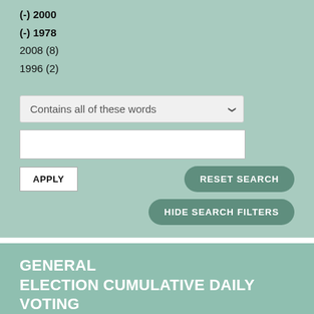(-) 2000
(-) 1978
2008 (8)
1996 (2)
Contains all of these words
APPLY
RESET SEARCH
HIDE SEARCH FILTERS
GENERAL ELECTION CUMULATIVE DAILY VOTING PERCENTAGE (2000)
TABLE | SHARE | MORE